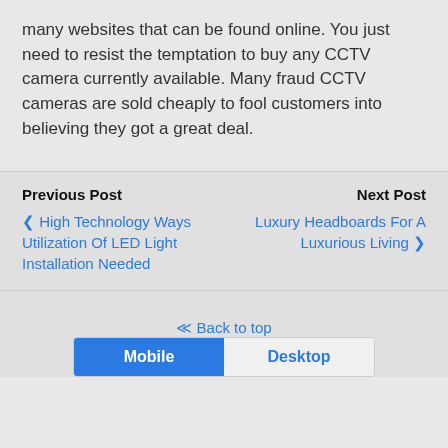many websites that can be found online. You just need to resist the temptation to buy any CCTV camera currently available. Many fraud CCTV cameras are sold cheaply to fool customers into believing they got a great deal.
Previous Post
‹ High Technology Ways Utilization Of LED Light Installation Needed
Next Post
Luxury Headboards For A Luxurious Living ›
⇪ Back to top
Mobile   Desktop